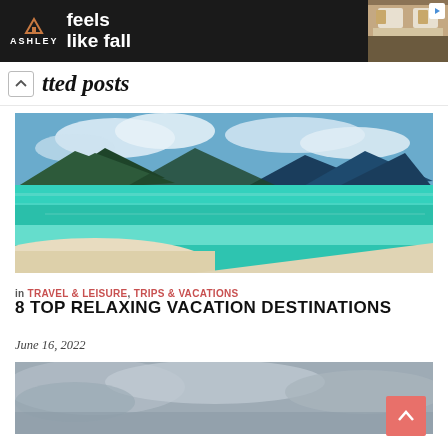[Figure (other): Ashley Furniture advertisement banner with dark background, logo, 'feels like fall' tagline, shop now button, and bedroom image]
tted posts
[Figure (photo): Tropical beach scene with turquoise water, white sand, and mountains in the background under a cloudy blue sky]
in TRAVEL & LEISURE, TRIPS & VACATIONS
8 TOP RELAXING VACATION DESTINATIONS
June 16, 2022
[Figure (photo): Partially visible second photo, appears to show a cloudy sky scene]